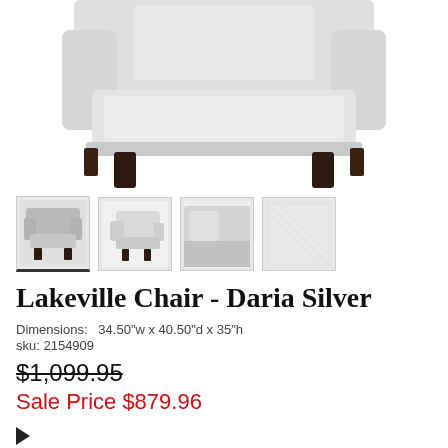[Figure (photo): Large upholstered accent chair in light gray/silver fabric with dark brown tapered legs, shown from front/above angle. Cropped view showing seat, arms, and legs.]
[Figure (photo): Four thumbnail images of the Lakeville Chair - Daria Silver. First thumbnail (selected/highlighted) shows front view of gray chair. Second shows side/angle view. Third shows close-up of corner/arm detail. Fourth shows fabric swatch in light gray.]
Lakeville Chair - Daria Silver
Dimensions:  34.50"w x 40.50"d x 35"h
sku: 2154909
$1,099.95
Sale Price $879.96
The Lakeville collection features sinuous spring construction and cushion cores with individually pocketed innerspring coils